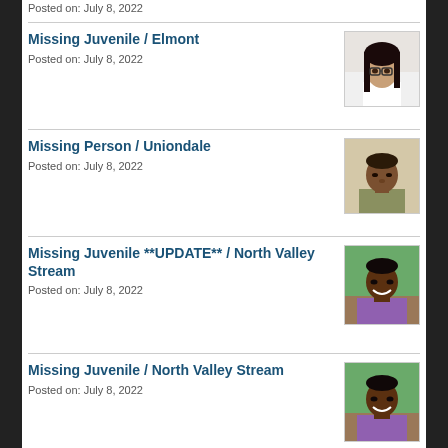Posted on: July 8, 2022
Missing Juvenile / Elmont
Posted on: July 8, 2022
[Figure (photo): Photo of missing juvenile from Elmont - young woman with long dark hair and glasses]
Missing Person / Uniondale
Posted on: July 8, 2022
[Figure (photo): Photo of missing person from Uniondale - man in striped shirt]
Missing Juvenile **UPDATE** / North Valley Stream
Posted on: July 8, 2022
[Figure (photo): Photo of missing juvenile from North Valley Stream - young woman smiling in purple top outdoors]
Missing Juvenile / North Valley Stream
Posted on: July 8, 2022
[Figure (photo): Photo of missing juvenile from North Valley Stream - young woman smiling in purple top outdoors]
Arrest / Levitown